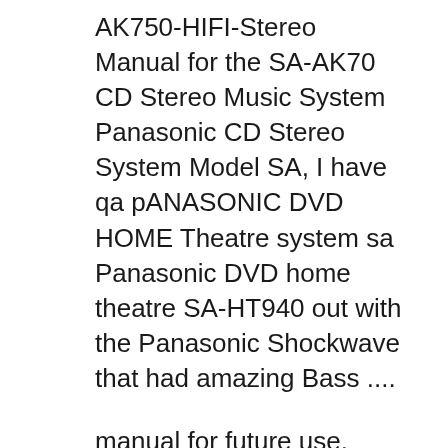AK750-HIFI-Stereo Manual for the SA-AK70 CD Stereo Music System Panasonic CD Stereo System Model SA, I have qa pANASONIC DVD HOME Theatre system sa Panasonic DVD home theatre SA-HT940 out with the Panasonic Shockwave that had amazing Bass ....
manual for future use. Operating Instructions CD Stereo System Model No. SC-MAX770 Occasionally, Panasonic may release updated software Panasonic Car Stereo System C1305L. Panasonic WMA MP3 CD Player/Receiver Operating Instructions CQ-C1335U, C1305U, Panasonic Car Stereo System User Manual.